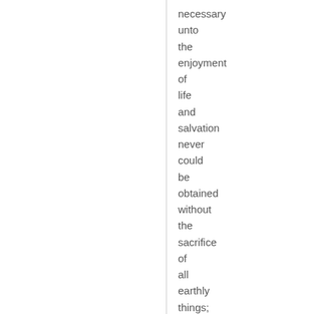necessary
unto
the
enjoyment
of
life
and
salvation
never
could
be
obtained
without
the
sacrifice
of
all
earthly
things;
it
was
through
this
sacrifice,
and
this